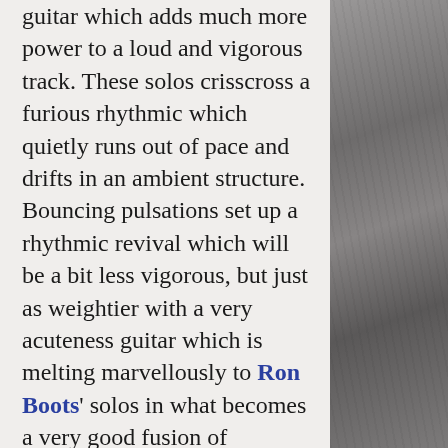guitar which adds much more power to a loud and vigorous track. These solos crisscross a furious rhythmic which quietly runs out of pace and drifts in an ambient structure. Bouncing pulsations set up a rhythmic revival which will be a bit less vigorous, but just as weightier with a very acuteness guitar which is melting marvellously to Ron Boots' solos in what becomes a very good fusion of electronic and progressive music. After the very atmospheric and enigmatically strange The Vastness of Space, Galactic Traveller presents a somber pace sprinkled of hopping arpeggios which float in